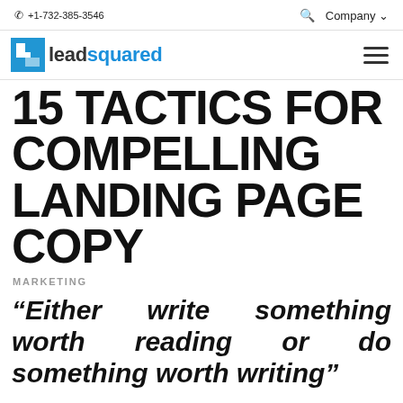☎ +1-732-385-3546   🔍  Company ∨
[Figure (logo): LeadSquared logo with blue square icon and text 'leadsquared' with hamburger menu icon]
15 TACTICS FOR COMPELLING LANDING PAGE COPY
MARKETING
"Either write something worth reading or do something worth writing"